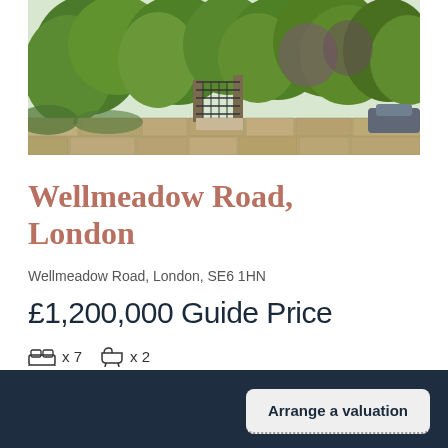[Figure (photo): Exterior photo of property showing stone wall with iron gate, lush greenery and shrubs, with a car partially visible on the right side]
Wellmeadow Road, London
Wellmeadow Road, London, SE6 1HN
£1,200,000 Guide Price
🛏 x 7  🛁 x 2
Arrange a valuation